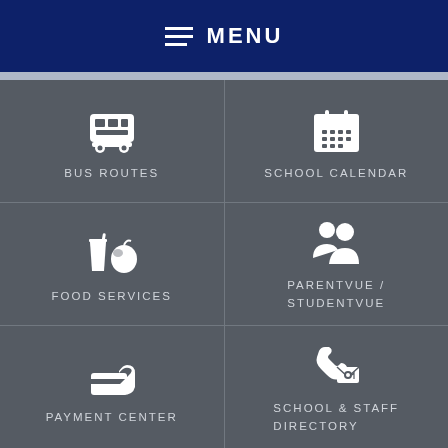MENU
[Figure (infographic): Navigation menu grid with 6 items: Bus Routes, School Calendar, Food Services, ParentVue/StudentVue, Payment Center, School & Staff Directory]
BUS ROUTES
SCHOOL CALENDAR
FOOD SERVICES
PARENTVUE / STUDENTVUE
PAYMENT CENTER
SCHOOL & STAFF DIRECTORY